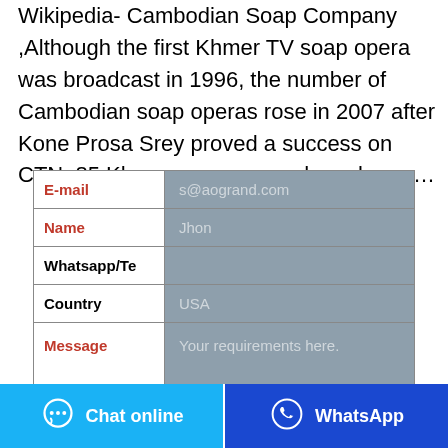Wikipedia- Cambodian Soap Company ,Although the first Khmer TV soap opera was broadcast in 1996, the number of Cambodian soap operas rose in 2007 after Kone Prosa Srey proved a success on CTN. 85 Khmer soap operas have been …
| Field | Value |
| --- | --- |
| E-mail | s@aogrand.com |
| Name | Jhon |
| Whatsapp/Te |  |
| Country | USA |
| Message | Your requirements here. |
Chat online
WhatsApp